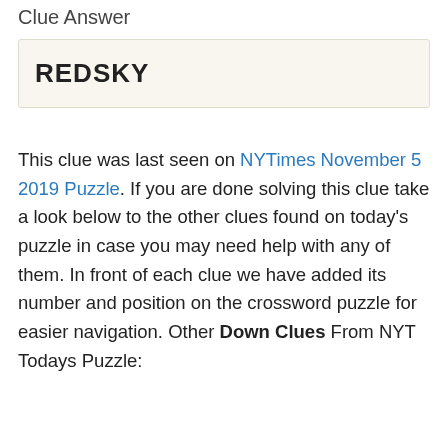Clue Answer
REDSKY
This clue was last seen on NYTimes November 5 2019 Puzzle. If you are done solving this clue take a look below to the other clues found on today's puzzle in case you may need help with any of them. In front of each clue we have added its number and position on the crossword puzzle for easier navigation. Other Down Clues From NYT Todays Puzzle: